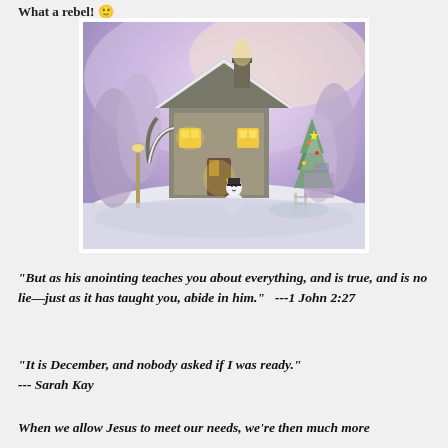What a rebel! 🙂
[Figure (illustration): A Thomas Kinkade-style winter Christmas scene painting showing a snow-covered cottage with warm glowing windows, a snowman in the front yard, a lit Christmas tree, a lamp post, snow-covered trees, and a purple/lavender sky.]
"But as his anointing teaches you about everything, and is true, and is no lie—just as it has taught you, abide in him."   ---1 John 2:27
"It is December, and nobody asked if I was ready."
--- Sarah Kay
When we allow Jesus to meet our needs, we're then much more